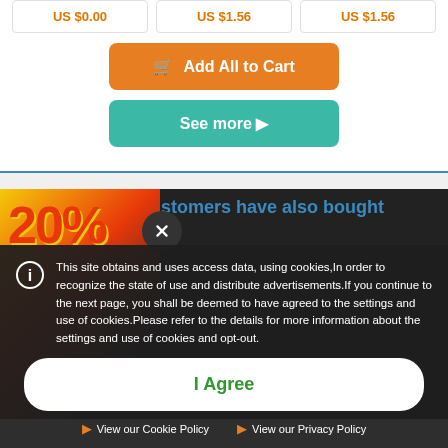US $0.00
US $1.56
US $1.56
Add All to Cart
See more ▶
stomers have also bought
This site obtains and uses access data, using cookies,In order to recognize the state of use and distribute advertisements.If you continue to the next page, you shall be deemed to have agreed to the settings and use of cookies.Please refer to the details for more information about the settings and use of cookies and opt-out.
I Agree
View our Cookie Policy
View our Privacy Policy